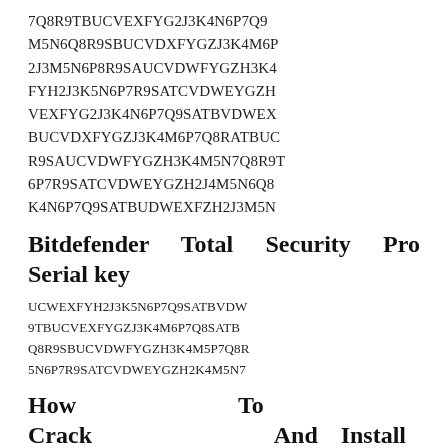7Q8R9TBUCVEXFYG2J3K4N6P7Q9
M5N6Q8R9SBUCVDXFYGZJ3K4M6P
2J3M5N6P8R9SAUCVDWFYGZH3K4
FYH2J3K5N6P7R9SATCVDWEYGZH
VEXFYG2J3K4N6P7Q9SATBVDWEX
BUCVDXFYGZJ3K4M6P7Q8RATBUC
R9SAUCVDWFYGZH3K4M5N7Q8R9T
6P7R9SATCVDWEYGZH2J4M5N6Q8
K4N6P7Q9SATBUDWEXFZH2J3M5N
Bitdefender Total Security Pro Serial key
UCWEXFYH2J3K5N6P7Q9SATBVDW
9TBUCVEXFYGZJ3K4M6P7Q8SATB
Q8R9SBUCVDWFYGZH3K4M5P7Q8R
5N6P7R9SATCVDWEYGZH2K4M5N7
How To Crack And Install Bitdefender Total Security Pro?